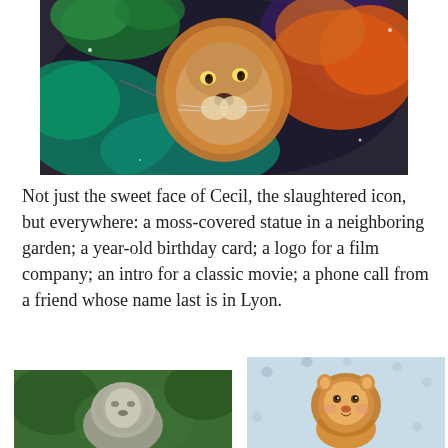[Figure (illustration): Colorful digital illustration of a lion with a vibrant rainbow-colored mane — greens, blues, teals, reds, oranges — set against a dark galaxy-like background with sparkles and paint splashes.]
Not just the sweet face of Cecil, the slaughtered icon, but everywhere: a moss-covered statue in a neighboring garden; a year-old birthday card; a logo for a film company; an intro for a classic movie; a phone call from a friend whose name last is in Lyon.
[Figure (photo): Photograph of a stone lion statue covered in moss or weathering, set against a background of green foliage/ivy.]
[Figure (illustration): Illustrated birthday card featuring a cute cartoon lion cub with a round face and fluffy mane on a light blue background with paw print pattern.]